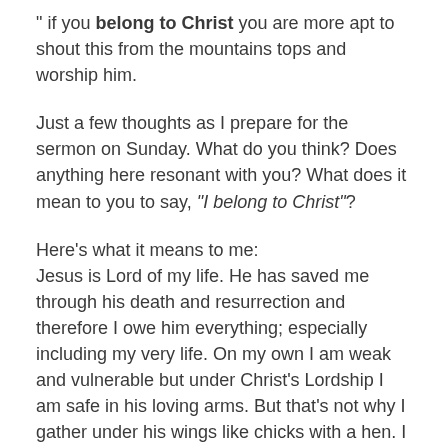" if you belong to Christ you are more apt to shout this from the mountains tops and worship him.
Just a few thoughts as I prepare for the sermon on Sunday. What do you think? Does anything here resonant with you? What does it mean to you to say, "I belong to Christ"?
Here's what it means to me: Jesus is Lord of my life. He has saved me through his death and resurrection and therefore I owe him everything; especially including my very life. On my own I am weak and vulnerable but under Christ's Lordship I am safe in his loving arms. But that's not why I gather under his wings like chicks with a hen. I am drawn to Christ because of his awesome love for me; a love that I know will never fail despite the fact that I am a miserable